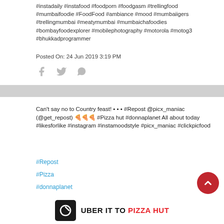#instadaily #instafood #foodporn #foodgasm #trellingfood #mumbaifoodie #FoodFood #ambiance #mood #mumbaiigers #trellingmumbai #meatymumbai #mumbaichafoodies #bombayfoodexplorer #mobilephotography #motorola #motog3 #bhukkadprogrammer
Posted On: 24 Jun 2019 3:19 PM
Can't say no to Country feast! • • • #Repost @picx_maniac (@get_repost) 🍕🍕🍕 #Pizza hut #donnaplanet All about today #likesforlike #instagram #instamoodstyle #picx_maniac #clickpicfood
#Repost
#Pizza
#donnaplanet
#likesforlike
#instagram
#instamoodstyle
UBER IT TO PIZZA HUT